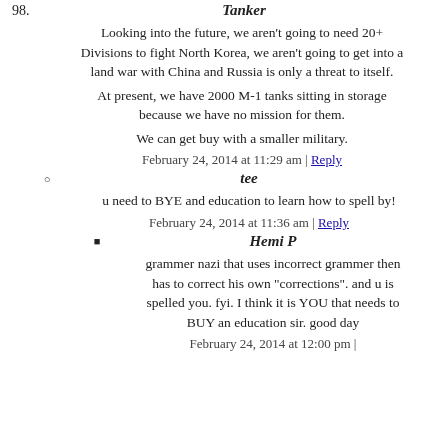98. Tanker
Looking into the future, we aren't going to need 20+ Divisions to fight North Korea, we aren't going to get into a land war with China and Russia is only a threat to itself.
At present, we have 2000 M-1 tanks sitting in storage because we have no mission for them.
We can get buy with a smaller military.
February 24, 2014 at 11:29 am | Reply
tee
u need to BYE and education to learn how to spell by!
February 24, 2014 at 11:36 am | Reply
Hemi P
grammer nazi that uses incorrect grammer then has to correct his own "corrections". and u is spelled you. fyi. I think it is YOU that needs to BUY an education sir. good day
February 24, 2014 at 12:00 pm |